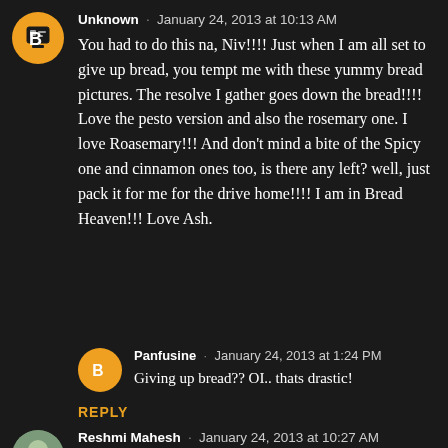Unknown · January 24, 2013 at 10:13 AM
You had to do this na, Niv!!!! Just when I am all set to give up bread, you tempt me with these yummy bread pictures. The resolve I gather goes down the bread!!!! Love the pesto version and also the rosemary one. I love Roasemary!!! And don't mind a bite of the Spicy one and cinnamon ones too, is there any left? well, just pack it for me for the drive home!!!! I am in Bread Heaven!!! Love Ash.
Panfusine · January 24, 2013 at 1:24 PM
Giving up bread?? OI.. thats drastic!
REPLY
Reshmi Mahesh · January 24, 2013 at 10:27 AM